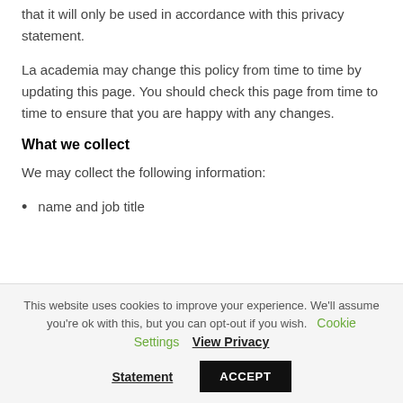that it will only be used in accordance with this privacy statement.
La academia may change this policy from time to time by updating this page. You should check this page from time to time to ensure that you are happy with any changes.
What we collect
We may collect the following information:
name and job title
This website uses cookies to improve your experience. We'll assume you're ok with this, but you can opt-out if you wish.  Cookie Settings   View Privacy Statement   ACCEPT